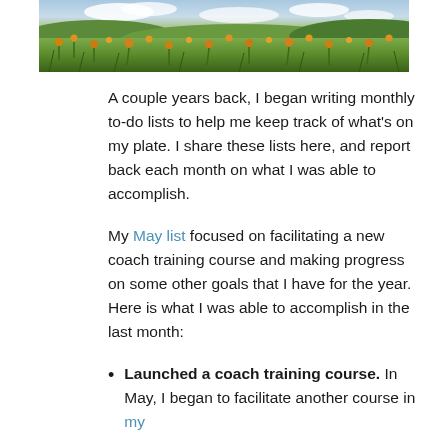[Figure (photo): Landscape photo of a wildflower meadow with orange and yellow flowers, green hills and a partly cloudy sky in the background.]
A couple years back, I began writing monthly to-do lists to help me keep track of what's on my plate. I share these lists here, and report back each month on what I was able to accomplish.
My May list focused on facilitating a new coach training course and making progress on some other goals that I have for the year. Here is what I was able to accomplish in the last month:
Launched a coach training course. In May, I began to facilitate another course in my